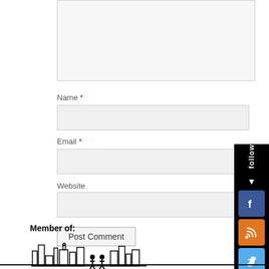[Figure (screenshot): Partially visible comment textarea input box at top]
Name *
[Figure (screenshot): Name text input field]
Email *
[Figure (screenshot): Email text input field]
Website
[Figure (screenshot): Website text input field]
[Figure (screenshot): Post Comment button]
[Figure (screenshot): Follow sidebar with Facebook, RSS, and Twitter icons]
Member of:
[Figure (illustration): Member of organization logo showing cityscape silhouette with people figures]